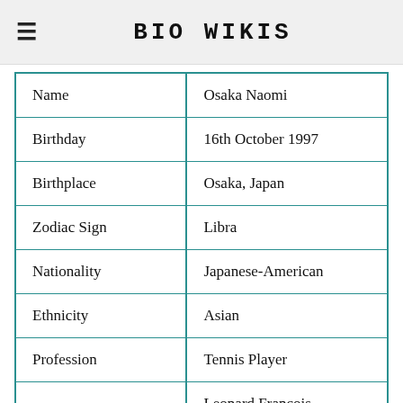BIO WIKIS
| Name | Osaka Naomi |
| Birthday | 16th October 1997 |
| Birthplace | Osaka, Japan |
| Zodiac Sign | Libra |
| Nationality | Japanese-American |
| Ethnicity | Asian |
| Profession | Tennis Player |
| Parents | Leonard Francois
Tamaki Osaka |